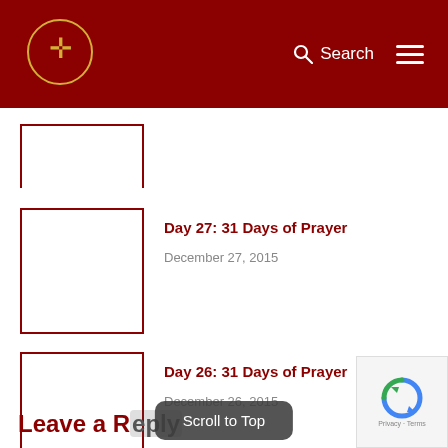Search
[Figure (logo): Religious cross logo in gold on dark red header background]
[Figure (illustration): Partial thumbnail image placeholder for first post (cropped at top)]
Day 27: 31 Days of Prayer
December 27, 2015
[Figure (illustration): Thumbnail image placeholder for Day 27: 31 Days of Prayer]
Day 26: 31 Days of Prayer
December 26, 2015
Leave a Reply
Scroll to Top